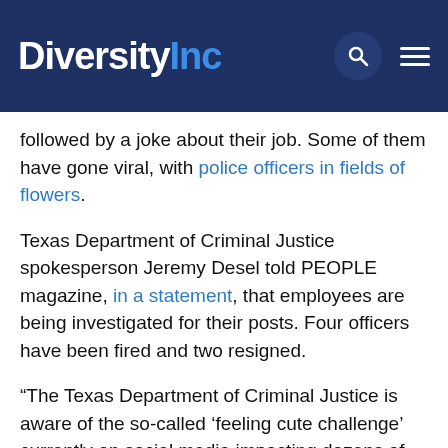DiversityInc
followed by a joke about their job. Some of them have gone viral, with police officers in fields of flowers.
Texas Department of Criminal Justice spokesperson Jeremy Desel told PEOPLE magazine, in a statement, that employees are being investigated for their posts. Four officers have been fired and two resigned.
“The Texas Department of Criminal Justice is aware of the so-called ‘feeling cute challenge’ currently on social media impacting dozens of corrections and law enforcement agencies nationwide,” Desel said. “Currently six of the more than 25,000 correctional officers employed by this agency are under investigation for on and off-duty conduct violations as a result of the alleged posting of inappropriate photographs on social media.”
“These officers in no way represent the thousands of TDC J